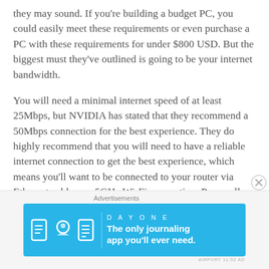they may sound. If you're building a budget PC, you could easily meet these requirements or even purchase a PC with these requirements for under $800 USD. But the biggest must they've outlined is going to be your internet bandwidth.
You will need a minimal internet speed of at least 25Mbps, but NVIDIA has stated that they recommend a 50Mbps connection for the best experience. They do highly recommend that you will need to have a reliable internet connection to get the best experience, which means you'll want to be connected to your router via Ethernet cable or a 5GHz Wi-Fi connection. Personally, we recommend a hardwired connection for the best results.
[Figure (other): Advertisement banner for Day One journaling app with light blue background showing app icons and the tagline 'The only journaling app you'll ever need.']